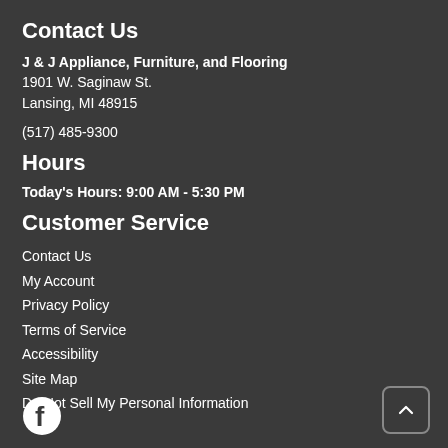Contact Us
J & J Appliance, Furniture, and Flooring
1901 W. Saginaw St.
Lansing, MI 48915
(517) 485-9300
Hours
Today's Hours: 9:00 AM - 5:30 PM
Customer Service
Contact Us
My Account
Privacy Policy
Terms of Service
Accessibility
Site Map
Do Not Sell My Personal Information